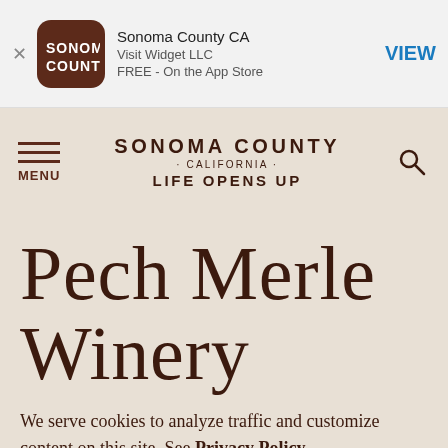[Figure (screenshot): App store banner with Sonoma County CA app icon, title 'Sonoma County CA', developer 'Visit Widget LLC', 'FREE - On the App Store', and VIEW button]
SONOMA COUNTY · CALIFORNIA · LIFE OPENS UP
Pech Merle Winery
We serve cookies to analyze traffic and customize content on this site. See Privacy Policy